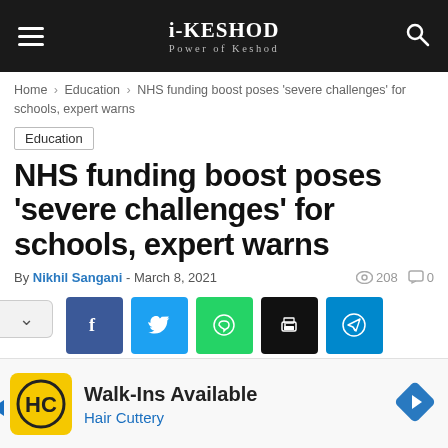i-KESHOD — Power of Keshod
Home > Education > NHS funding boost poses 'severe challenges' for schools, expert warns
Education
NHS funding boost poses 'severe challenges' for schools, expert warns
By Nikhil Sangani - March 8, 2021   208   0
[Figure (infographic): Social share buttons: Facebook, Twitter, WhatsApp, Print, Telegram]
[Figure (infographic): Advertisement banner: Hair Cuttery — Walk-Ins Available]